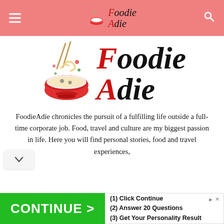FoodieAdie (logo header with menu and search icons)
[Figure (logo): FoodieAdie logo: a red bowl with chopsticks and noodles, with stylized italic text 'Foodie Adie' in red and black]
FoodieAdie chronicles the pursuit of a fulfilling life outside a full-time corporate job. Food, travel and culture are my biggest passion in life. Here you will find personal stories, food and travel experiences,
[Figure (other): Advertisement banner: green 'CONTINUE >' button on left; right side lists '(1) Click Continue', '(2) Answer 20 Questions', '(3) Get Your Personality Result']